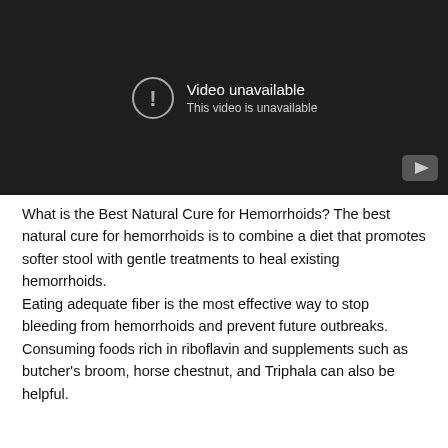[Figure (screenshot): Embedded video player showing 'Video unavailable' error message with an exclamation mark icon and YouTube logo in the bottom right corner. Dark background.]
What is the Best Natural Cure for Hemorrhoids? The best natural cure for hemorrhoids is to combine a diet that promotes softer stool with gentle treatments to heal existing hemorrhoids.
Eating adequate fiber is the most effective way to stop bleeding from hemorrhoids and prevent future outbreaks.
Consuming foods rich in riboflavin and supplements such as butcher's broom, horse chestnut, and Triphala can also be helpful.